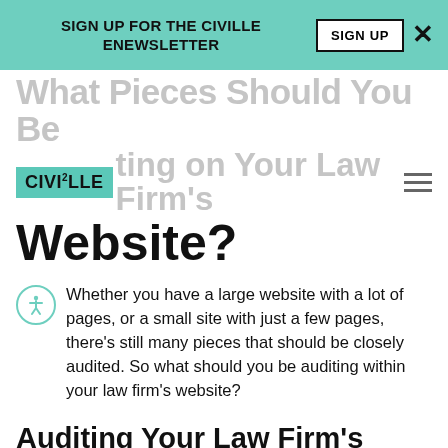SIGN UP FOR THE CIVILLE eNEWSLETTER
What Pieces Should You Be auditing on Your Law Firm's Website?
Whether you have a large website with a lot of pages, or a small site with just a few pages, there's still many pieces that should be closely audited. So what should you be auditing within your law firm's website?
Auditing Your Law Firm's Website Analytics + Tracking
Before you dive deep into auditing other pieces of your law